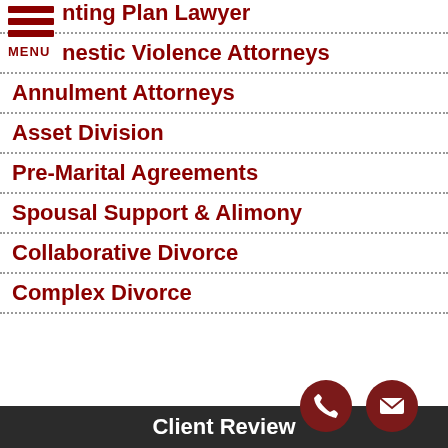...nting Plan Lawyer
...nestic Violence Attorneys
Annulment Attorneys
Asset Division
Pre-Marital Agreements
Spousal Support & Alimony
Collaborative Divorce
Complex Divorce
Client Review